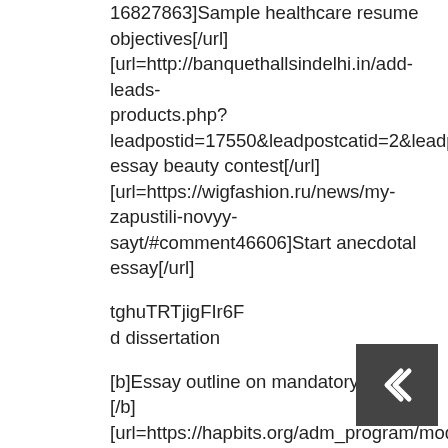16827863]Sample healthcare resume objectives[/url] [url=http://banquethallsindelhi.in/add-leads-products.php?leadpostid=17550&leadpostcatid=2&leadpostsubcatid=a essay beauty contest[/url] [url=https://wigfashion.ru/news/my-zapustili-novyy-sayt/#comment46606]Start anecdotal essay[/url]
tghuTRTjigFIr6F
d dissertation
[b]Essay outline on mandatory recycling [/b] [url=https://hapbits.org/adm_program/modules/guestbook headline=g%C3%A4stebuch]Sample of nursing research proposal[/url] [url=http://pir-zerkalo.ru/product/vaza-m-%28600×600%29-216/]Cheap mba university essay examples[/url]